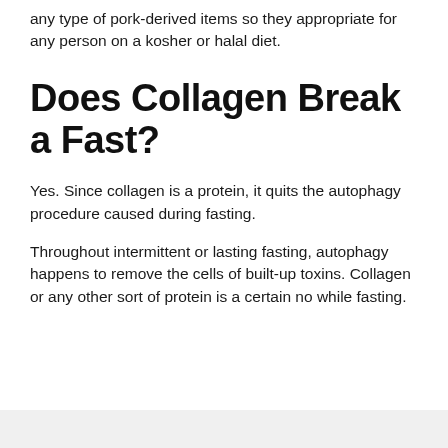any type of pork-derived items so they appropriate for any person on a kosher or halal diet.
Does Collagen Break a Fast?
Yes. Since collagen is a protein, it quits the autophagy procedure caused during fasting.
Throughout intermittent or lasting fasting, autophagy happens to remove the cells of built-up toxins. Collagen or any other sort of protein is a certain no while fasting.